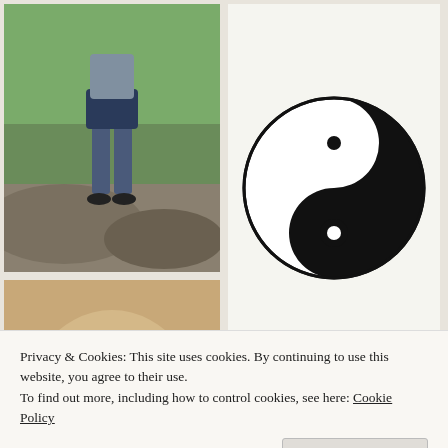[Figure (photo): Person hiking on rocky terrain with green hills in the background]
[Figure (illustration): Yin-yang symbol in black and white]
[Figure (photo): Golden retriever dog resting its head on a surface, looking at camera]
[Figure (photo): Woman wearing a straw hat with mountains and water in the background]
Privacy & Cookies: This site uses cookies. By continuing to use this website, you agree to their use.
To find out more, including how to control cookies, see here: Cookie Policy
Close and accept